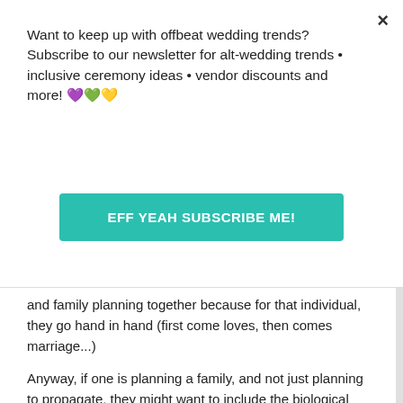Want to keep up with offbeat wedding trends?Subscribe to our newsletter for alt-wedding trends • inclusive ceremony ideas • vendor discounts and more! 💜💚💛
EFF YEAH SUBSCRIBE ME!
and family planning together because for that individual, they go hand in hand (first come loves, then comes marriage...)
Anyway, if one is planning a family, and not just planning to propagate, they might want to include the biological father into those plans.
And the truth is that our reproductive physiology has not evolved as quickly as our social structures have. So while you don’t need to married to have kids..., you do need to get your s*** together while you are still pretty young, if you want to have kids. I know there are plenty exceptions to averages, and it’s nice to think that we can have any sort of